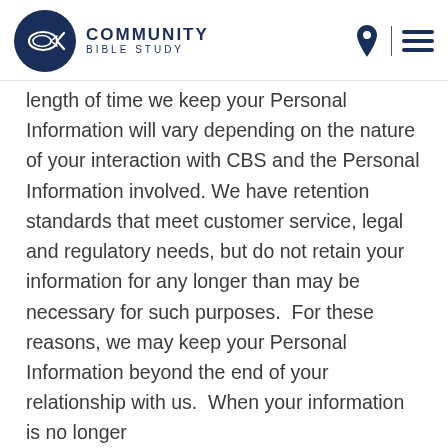Community Bible Study
length of time we keep your Personal Information will vary depending on the nature of your interaction with CBS and the Personal Information involved. We have retention standards that meet customer service, legal and regulatory needs, but do not retain your information for any longer than may be necessary for such purposes.  For these reasons, we may keep your Personal Information beyond the end of your relationship with us.  When your information is no longer